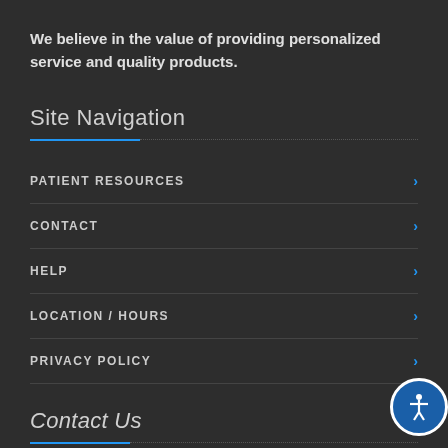We believe in the value of providing personalized service and quality products.
Site Navigation
PATIENT RESOURCES
CONTACT
HELP
LOCATION / HOURS
PRIVACY POLICY
Contact Us
Duren Apothecary